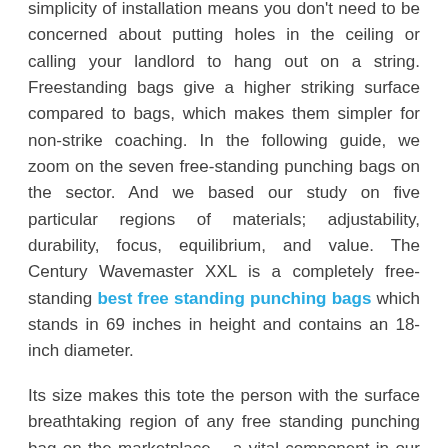simplicity of installation means you don't need to be concerned about putting holes in the ceiling or calling your landlord to hang out on a string. Freestanding bags give a higher striking surface compared to bags, which makes them simpler for non-strike coaching. In the following guide, we zoom on the seven free-standing punching bags on the sector. And we based our study on five particular regions of materials; adjustability, durability, focus, equilibrium, and value. The Century Wavemaster XXL is a completely free-standing best free standing punching bags which stands in 69 inches in height and contains an 18-inch diameter.
Its size makes this tote the person with the surface breathtaking region of any free standing punching bag on the marketplace – a vital component in our position it. This tote is full of high-density foam filler that's great at absorbing effect and has a good rebound back. The difference in responsiveness could be sensed. Additionally, this substance won't sink the manner that fabric filler will perform. The